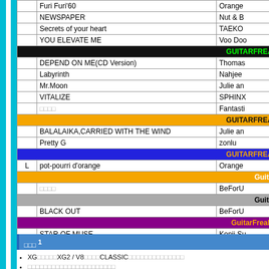|  | Title | Artist |
| --- | --- | --- |
|  | Furi Furi'60 | Orange |
|  | NEWSPAPER | Nut & B |
|  | Secrets of your heart | TAEKO |
|  | YOU ELEVATE ME | Voo Doo |
| GUITARFREAKS |  |  |
|  | DEPEND ON ME(CD Version) | Thomas |
|  | Labyrinth | Nahjee |
|  | Mr.Moon | Julie an |
|  | VITALIZE | SPHINX |
|  | □□□□ | Fantasti |
| GUITARFREAKS |  |  |
|  | BALALAIKA,CARRIED WITH THE WIND | Julie an |
|  | Pretty G | zonlu |
| GUITARFREAKS |  |  |
| L | pot-pourri d'orange | Orange |
| GuitarFr |  |  |
|  | □□□□ | BeForU |
| GuitarFr |  |  |
|  | BLACK OUT | BeForU |
| GuitarFreaks & |  |  |
|  | STAR OF MUSE | Kenji Su |
□□□ 1
XG□□□□□XG2 / V8□□□□CLASSIC□□□□□□□□□□□□□□
□□□□□□□□□□□□□□□□□□□□□□